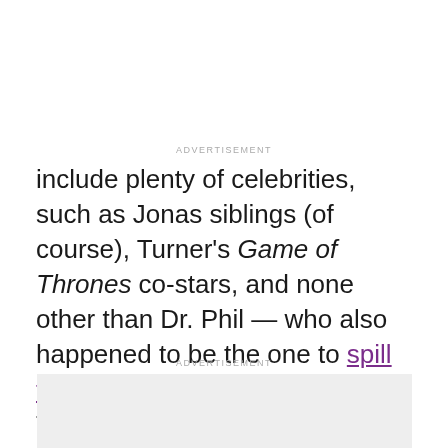ADVERTISEMENT
include plenty of celebrities, such as Jonas siblings (of course), Turner's Game of Thrones co-stars, and none other than Dr. Phil — who also happened to be the one to spill the beans on the wedding date. The two had plenty of beer at the event, including custom Coors bottles.
ADVERTISEMENT